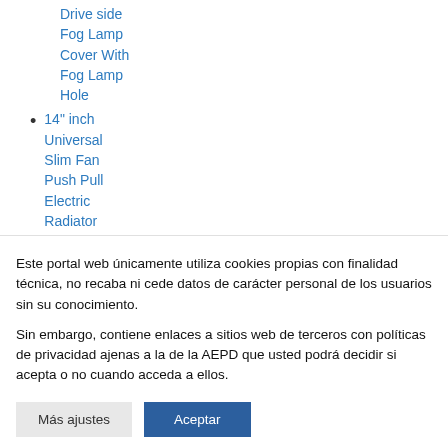Drive side Fog Lamp Cover With Fog Lamp Hole
14" inch Universal Slim Fan Push Pull Electric Radiator Cooling 12V
Este portal web únicamente utiliza cookies propias con finalidad técnica, no recaba ni cede datos de carácter personal de los usuarios sin su conocimiento.
Sin embargo, contiene enlaces a sitios web de terceros con políticas de privacidad ajenas a la de la AEPD que usted podrá decidir si acepta o no cuando acceda a ellos.
Más ajustes
Aceptar